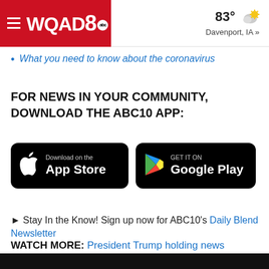WQAD8 abc | 83° Davenport, IA »
What you need to know about the coronavirus
FOR NEWS IN YOUR COMMUNITY, DOWNLOAD THE ABC10 APP:
[Figure (screenshot): App Store and Google Play download buttons on black backgrounds]
► Stay In the Know! Sign up now for ABC10's Daily Blend Newsletter
WATCH MORE: President Trump holding news conference on coronavirus US threat